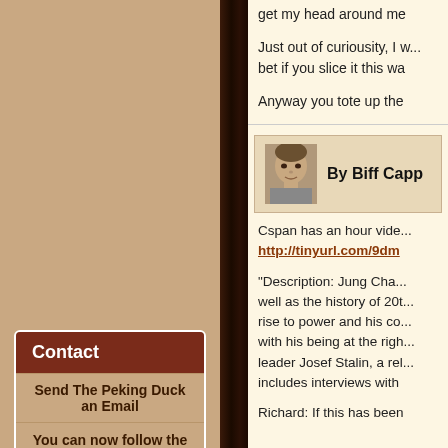get my head around me
Just out of curiousity, I w... bet if you slice it this wa
Anyway you tote up the
Contact
Send The Peking Duck an Email
You can now follow the Peking Duck on Twitter
Recent Posts
The Cult of Xi
Shanghai, the next Xinjiang?
Xinjiang and Shaun Rein
The Peking Duck is officially closed
By Biff Capp
Cspan has an hour vide... http://tinyurl.com/9dm
"Description: Jung Cha... well as the history of 20t... rise to power and his co... with his being at the righ... leader Josef Stalin, a rel... includes interviews with
Richard: If this has been